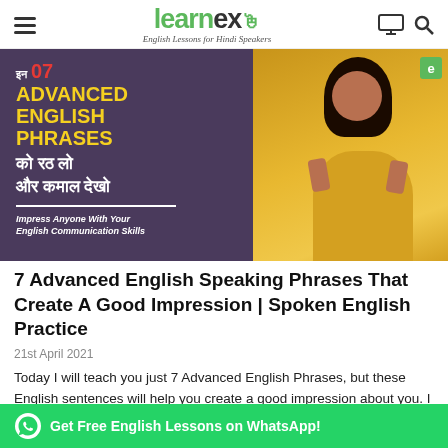learnex — English Lessons for Hindi Speakers
[Figure (photo): Thumbnail image showing a woman in yellow kurta giving thumbs up, with text '7 Advanced English Phrases को रठ लो और कमाल देखो – Impress Anyone With Your English Communication Skills' on a purple background]
7 Advanced English Speaking Phrases That Create A Good Impression | Spoken English Practice
21st April 2021
Today I will teach you just 7 Advanced English Phrases, but these English sentences will help you create a good impression about you. I personally…
Get Free English Lessons on WhatsApp!